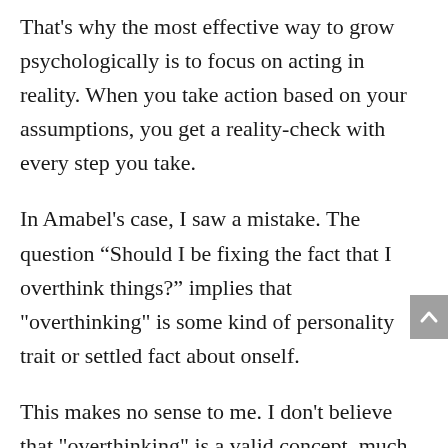That's why the most effective way to grow psychologically is to focus on acting in reality. When you take action based on your assumptions, you get a reality-check with every step you take.
In Amabel's case, I saw a mistake. The question “Should I be fixing the fact that I overthink things?” implies that "overthinking" is some kind of personality trait or settled fact about onself.
This makes no sense to me. I don't believe that "overthinking" is a valid concept, much less that it can be a personality trait.